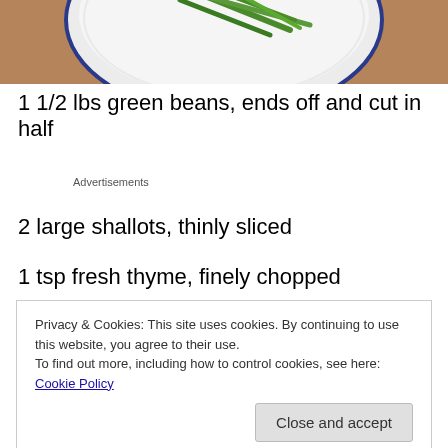[Figure (photo): Top portion of a white bowl with blue rim containing green beans, on a wooden surface. Image is cropped at top.]
1 1/2 lbs green beans, ends off and cut in half
Advertisements
2 large shallots, thinly sliced
1 tsp fresh thyme, finely chopped
Privacy & Cookies: This site uses cookies. By continuing to use this website, you agree to their use.
To find out more, including how to control cookies, see here: Cookie Policy